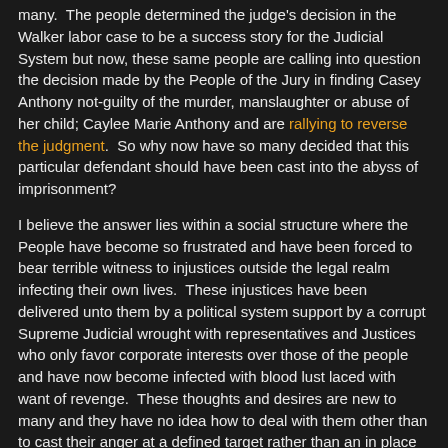many.  The people determined the judge's decision in the Walker labor case to be a success story for the Judicial System but now, these same people are calling into question the decision made by the People of the Jury in finding Casey Anthony not-guilty of the murder, manslaughter or abuse of her child; Caylee Marie Anthony and are rallying to reverse the judgment.  So why now have so many decided that this particular defendant should have been cast into the abyss of imprisonment?
I believe the answer lies within a social structure where the People have become so frustrated and have been forced to bear terrible witness to injustices outside the legal realm infecting their own lives.  These injustices have been delivered unto them by a political system support by a corrupt Supreme Judicial wrought with representatives and Justices who only favor corporate interests over those of the people and have now become infected with blood lust laced with want of revenge.  These thoughts and desires are new to many and they have no idea how to deal with them other than to cast their anger at a defined target rather than an in place bureaucracy which is seemingly unreachable.